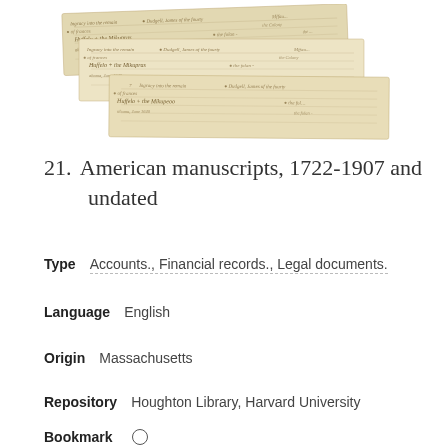[Figure (photo): Three overlapping aged manuscript pages with handwritten cursive text in brown ink on yellowed paper, arranged in a fanned/stacked layout.]
21.  American manuscripts, 1722-1907 and undated
Type   Accounts., Financial records., Legal documents.
Language   English
Origin   Massachusetts
Repository   Houghton Library, Harvard University
Bookmark   ○